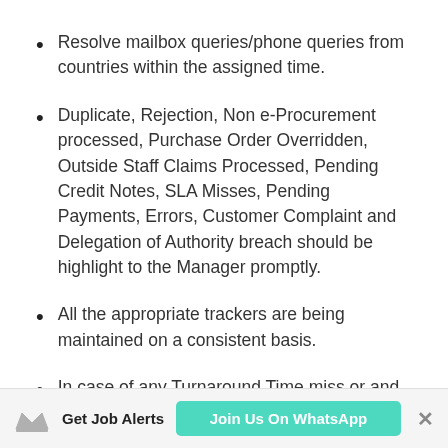Resolve mailbox queries/phone queries from countries within the assigned time.
Duplicate, Rejection, Non e-Procurement processed, Purchase Order Overridden, Outside Staff Claims Processed, Pending Credit Notes, SLA Misses, Pending Payments, Errors, Customer Complaint and Delegation of Authority breach should be highlight to the Manager promptly.
All the appropriate trackers are being maintained on a consistent basis.
In case of any Turnaround Time miss or and wrong payment, reports same to Manager immediately
Get Job Alerts  Join Us On WhatsApp  ×